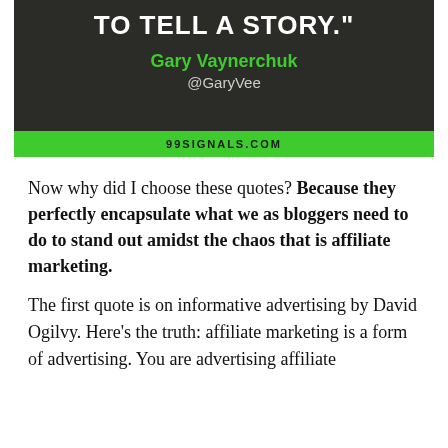[Figure (infographic): Dark-background quote card with white bold text 'TO TELL A STORY."', green author name 'Gary Vaynerchuk', grey handle '@GaryVee', and green footer bar with '99SIGNALS.COM']
Now why did I choose these quotes? Because they perfectly encapsulate what we as bloggers need to do to stand out amidst the chaos that is affiliate marketing.
The first quote is on informative advertising by David Ogilvy. Here's the truth: affiliate marketing is a form of advertising. You are advertising affiliate